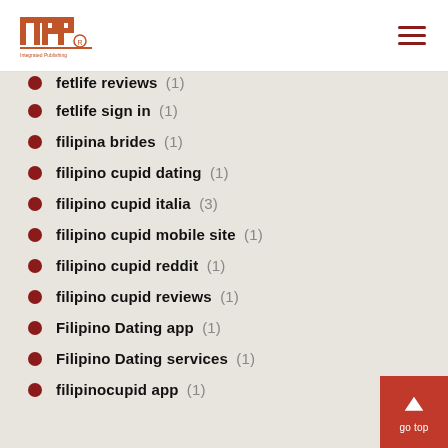INP logo and navigation
fetlife reviews (1)
fetlife sign in (1)
filipina brides (1)
filipino cupid dating (1)
filipino cupid italia (3)
filipino cupid mobile site (1)
filipino cupid reddit (1)
filipino cupid reviews (1)
Filipino Dating app (1)
Filipino Dating services (1)
filipinocupid app (1)